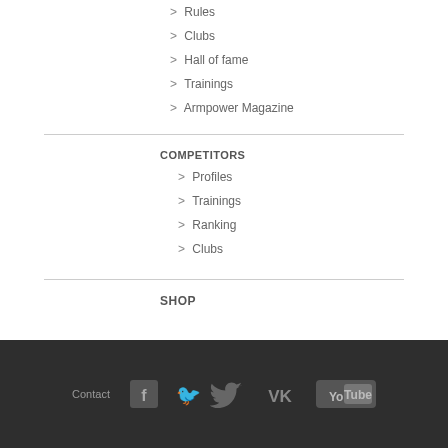> Rules
> Clubs
> Hall of fame
> Trainings
> Armpower Magazine
COMPETITORS
> Profiles
> Trainings
> Ranking
> Clubs
SHOP
Contact  [Facebook] [Twitter] [VK] [YouTube]